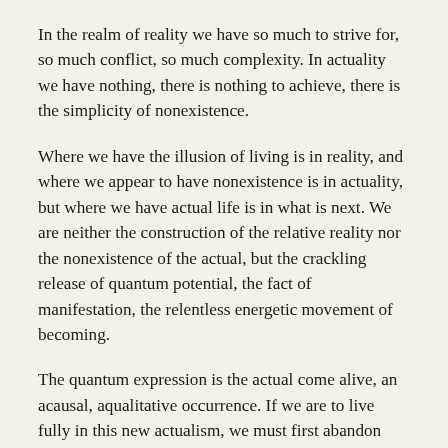In the realm of reality we have so much to strive for, so much conflict, so much complexity. In actuality we have nothing, there is nothing to achieve, there is the simplicity of nonexistence.
Where we have the illusion of living is in reality, and where we appear to have nonexistence is in actuality, but where we have actual life is in what is next. We are neither the construction of the relative reality nor the nonexistence of the actual, but the crackling release of quantum potential, the fact of manifestation, the relentless energetic movement of becoming.
The quantum expression is the actual come alive, an acausal, aqualitative occurrence. If we are to live fully in this new actualism, we must first abandon any belief in reality as we have known it by abandoning belief itself, and our belief in belief is anchored in the superstition that the known tells us what is next. This belief in the known is reinforced because we reside in reality, which is known, and in reality, the known informs us what is next, because what is next is more of the same known. The belief in the known anchors the belief in